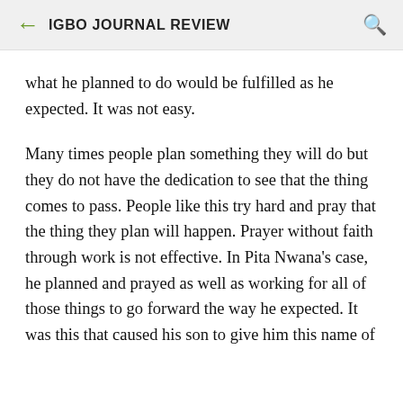IGBO JOURNAL REVIEW
what he planned to do would be fulfilled as he expected. It was not easy.
Many times people plan something they will do but they do not have the dedication to see that the thing comes to pass. People like this try hard and pray that the thing they plan will happen. Prayer without faith through work is not effective. In Pita Nwana's case, he planned and prayed as well as working for all of those things to go forward the way he expected. It was this that caused his son to give him this name of